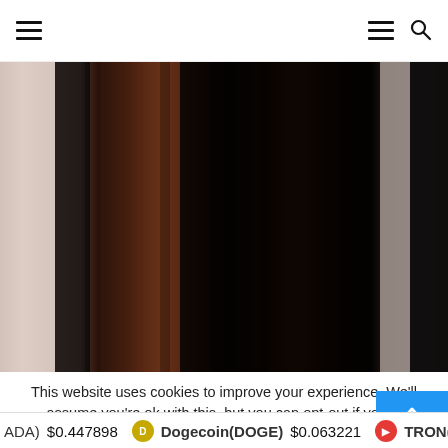Navigation header with hamburger menu and search icon
[Figure (photo): Abstract blurred vertical color bars — dark black center bands flanked by brown/copper tones, with lighter beige/silver strips at the edges. Appears to be a decorative or article header image.]
This website uses cookies to improve your experience. We'll assume you're ok with this, but you can opt-out if you w
ADA) $0.447898   Dogecoin(DOGE) $0.063221   TRON(TRX